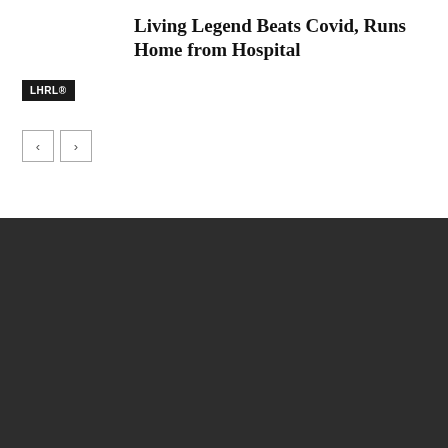Living Legend Beats Covid, Runs Home from Hospital
LHRL®
EDITOR PICKS
Ultra-Season Confirmed by Outbreak of Phantom Man-pains
NBA Loses 10's, Maybe Dozens, of Old, White Viewers to Walkout